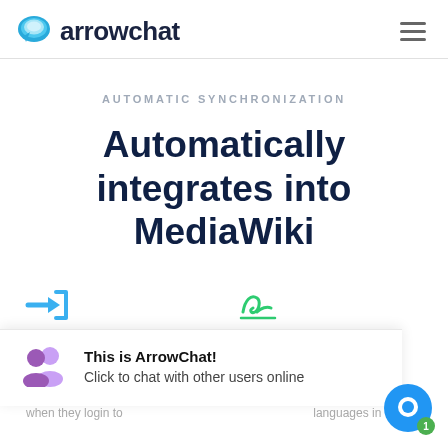arrowchat
AUTOMATIC SYNCHRONIZATION
Automatically integrates into MediaWiki
User Login
Username
This is ArrowChat! Click to chat with other users online
when they login to
languages in UTF-8.